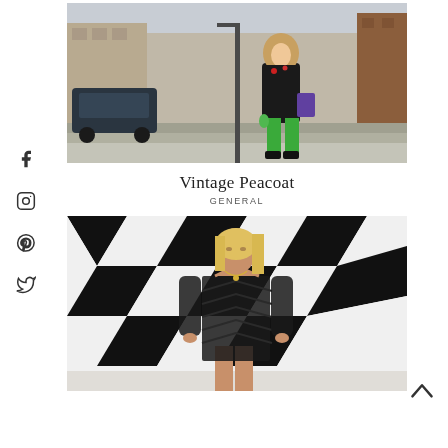[Figure (photo): Young woman walking on a city street in winter, wearing a black peacoat, green pants, and black shoes, carrying a purple bag. Cars and urban street scene in background.]
Vintage Peacoat
GENERAL
[Figure (photo): Blonde woman wearing a sheer black chevron-striped halter dress, standing in front of a geometric black and white diamond pattern backdrop.]